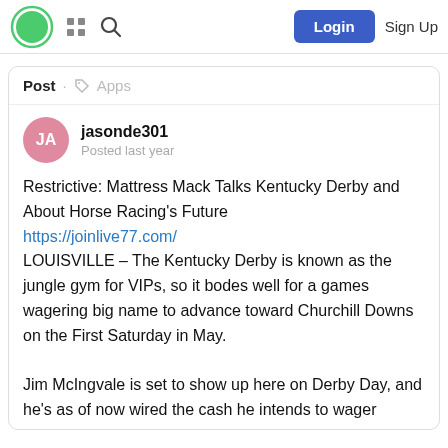Login  Sign Up
Post · Apps
jasonde301
Posted last year
Restrictive: Mattress Mack Talks Kentucky Derby and About Horse Racing's Future
https://joinlive77.com/
LOUISVILLE – The Kentucky Derby is known as the jungle gym for VIPs, so it bodes well for a games wagering big name to advance toward Churchill Downs on the First Saturday in May.

Jim McIngvale is set to show up here on Derby Day, and he's as of now wired the cash he intends to wager